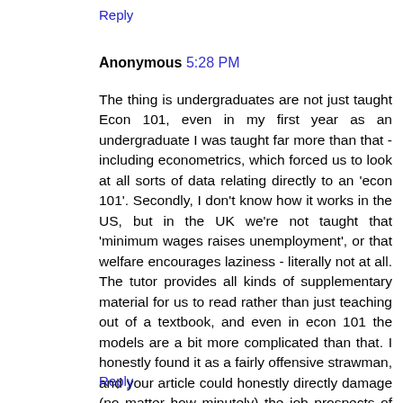Reply
Anonymous 5:28 PM
The thing is undergraduates are not just taught Econ 101, even in my first year as an undergraduate I was taught far more than that - including econometrics, which forced us to look at all sorts of data relating directly to an 'econ 101'. Secondly, I don't know how it works in the US, but in the UK we're not taught that 'minimum wages raises unemployment', or that welfare encourages laziness - literally not at all. The tutor provides all kinds of supplementary material for us to read rather than just teaching out of a textbook, and even in econ 101 the models are a bit more complicated than that. I honestly found it as a fairly offensive strawman, and your article could honestly directly damage (no matter how minutely) the job prospects of graduating students, do you honestly consider that your writings could almost be unjustly defamatory?
Reply